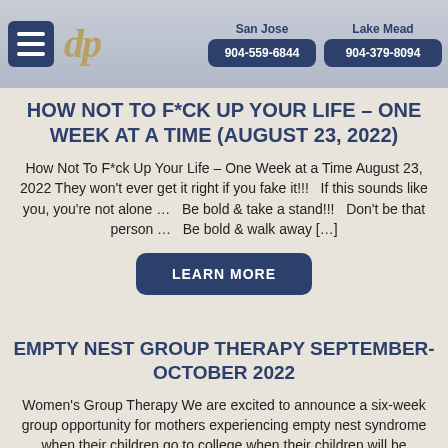San Jose 904-559-6844 | Lake Mead 904-379-8094
HOW NOT TO F*CK UP YOUR LIFE – ONE WEEK AT A TIME (AUGUST 23, 2022)
How Not To F*ck Up Your Life – One Week at a Time August 23, 2022 They won't ever get it right if you fake it!!!   If this sounds like you, you're not alone …   Be bold & take a stand!!!   Don't be that person …   Be bold & walk away […]
LEARN MORE
EMPTY NEST GROUP THERAPY SEPTEMBER-OCTOBER 2022
Women's Group Therapy We are excited to announce a six-week group opportunity for mothers experiencing empty nest syndrome when their children go to college when their children will be